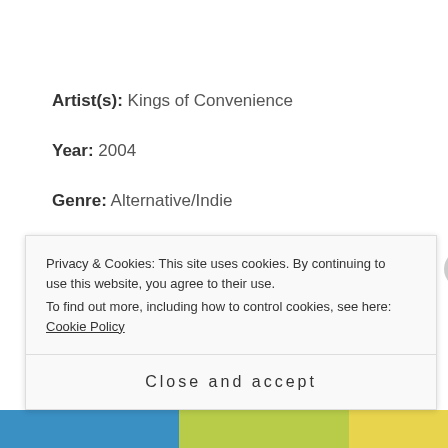Artist(s): Kings of Convenience
Year: 2004
Genre: Alternative/Indie
Thoughts: It hasn't been too long since I  started listening to them, but they definitely are on my playlist for when I need to unwind. I absolutely love their
Privacy & Cookies: This site uses cookies. By continuing to use this website, you agree to their use.
To find out more, including how to control cookies, see here: Cookie Policy
Close and accept